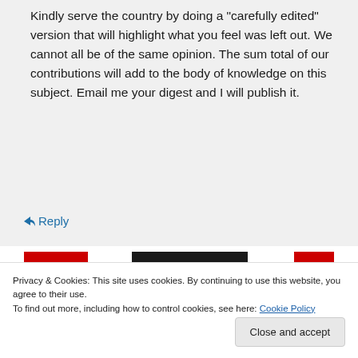Kindly serve the country by doing a "carefully edited" version that will highlight what you feel was left out. We cannot all be of the same opinion. The sum total of our contributions will add to the body of knowledge on this subject. Email me your digest and I will publish it.
↳ Reply
Privacy & Cookies: This site uses cookies. By continuing to use this website, you agree to their use.
To find out more, including how to control cookies, see here: Cookie Policy
Close and accept